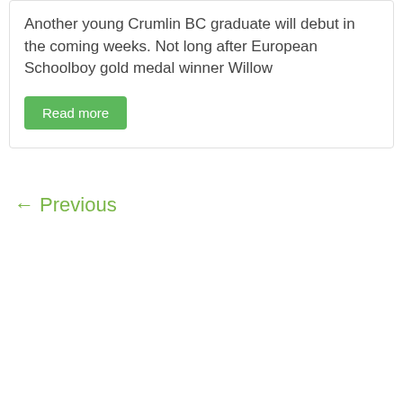Another young Crumlin BC graduate will debut in the coming weeks. Not long after European Schoolboy gold medal winner Willow
Read more
← Previous